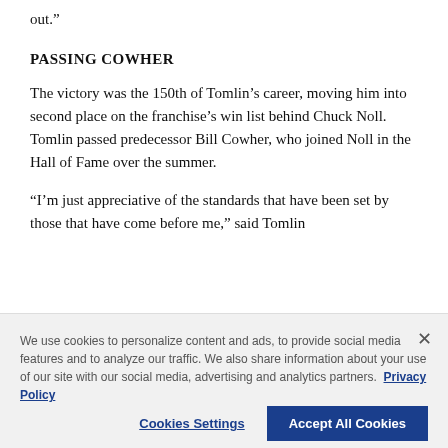out.”
PASSING COWHER
The victory was the 150th of Tomlin’s career, moving him into second place on the franchise’s win list behind Chuck Noll. Tomlin passed predecessor Bill Cowher, who joined Noll in the Hall of Fame over the summer.
“I’m just appreciative of the standards that have been set by those that have come before me,” said Tomlin
We use cookies to personalize content and ads, to provide social media features and to analyze our traffic. We also share information about your use of our site with our social media, advertising and analytics partners. Privacy Policy
Cookies Settings
Accept All Cookies